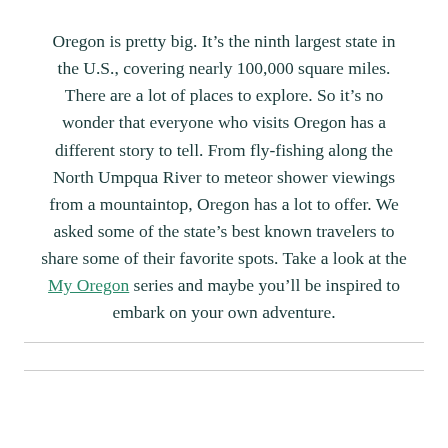Oregon is pretty big. It's the ninth largest state in the U.S., covering nearly 100,000 square miles. There are a lot of places to explore. So it's no wonder that everyone who visits Oregon has a different story to tell. From fly-fishing along the North Umpqua River to meteor shower viewings from a mountaintop, Oregon has a lot to offer. We asked some of the state's best known travelers to share some of their favorite spots. Take a look at the My Oregon series and maybe you'll be inspired to embark on your own adventure.